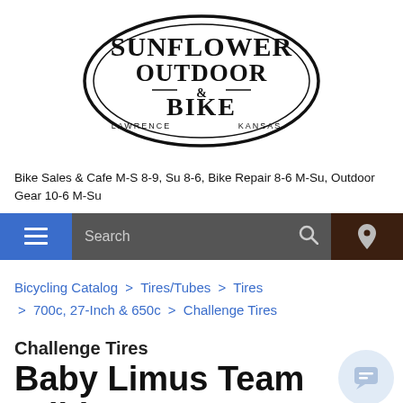[Figure (logo): Sunflower Outdoor & Bike logo — oval shape with text SUNFLOWER OUTDOOR & BIKE, Lawrence Kansas]
Bike Sales & Cafe M-S 8-9, Su 8-6, Bike Repair 8-6 M-Su, Outdoor Gear 10-6 M-Su
Search
Bicycling Catalog > Tires/Tubes > Tires > 700c, 27-Inch & 650c > Challenge Tires
Challenge Tires
Baby Limus Team Edition